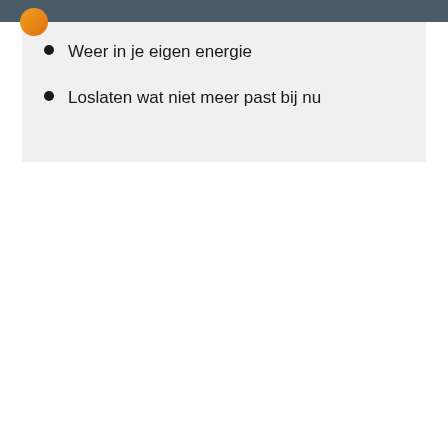Weer in je eigen energie
Loslaten wat niet meer past bij nu